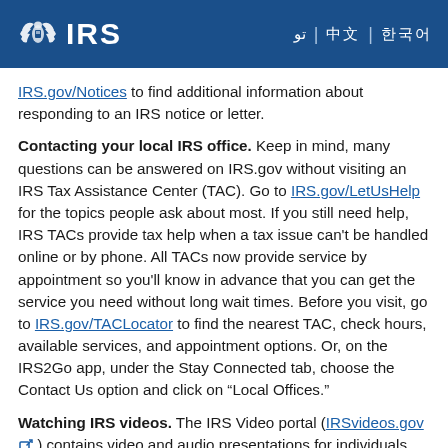IRS
IRS.gov/Notices to find additional information about responding to an IRS notice or letter.
Contacting your local IRS office. Keep in mind, many questions can be answered on IRS.gov without visiting an IRS Tax Assistance Center (TAC). Go to IRS.gov/LetUsHelp for the topics people ask about most. If you still need help, IRS TACs provide tax help when a tax issue can't be handled online or by phone. All TACs now provide service by appointment so you'll know in advance that you can get the service you need without long wait times. Before you visit, go to IRS.gov/TACLocator to find the nearest TAC, check hours, available services, and appointment options. Or, on the IRS2Go app, under the Stay Connected tab, choose the Contact Us option and click on “Local Offices.”
Watching IRS videos. The IRS Video portal (IRSvideos.gov) contains video and audio presentations for individuals, small businesses, and tax professionals.
Getting tax information in other languages. For